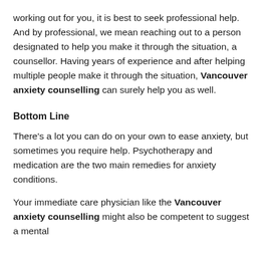working out for you, it is best to seek professional help. And by professional, we mean reaching out to a person designated to help you make it through the situation, a counsellor. Having years of experience and after helping multiple people make it through the situation, Vancouver anxiety counselling can surely help you as well.
Bottom Line
There's a lot you can do on your own to ease anxiety, but sometimes you require help. Psychotherapy and medication are the two main remedies for anxiety conditions.
Your immediate care physician like the Vancouver anxiety counselling might also be competent to suggest a mental